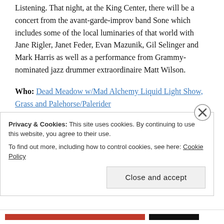Listening. That night, at the King Center, there will be a concert from the avant-garde-improv band Sone which includes some of the local luminaries of that world with Jane Rigler, Janet Feder, Evan Mazunik, Gil Selinger and Mark Harris as well as a performance from Grammy-nominated jazz drummer extraordinaire Matt Wilson.
Who: Dead Meadow w/Mad Alchemy Liquid Light Show, Grass and Palehorse/Palerider
When: Friday, 04.06, 8:30 p.m.
Where: Globe Hall
Why: Dead Meadow is one of the pioneers of the recent
Privacy & Cookies: This site uses cookies. By continuing to use this website, you agree to their use. To find out more, including how to control cookies, see here: Cookie Policy